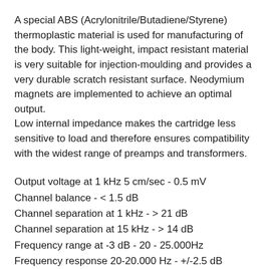A special ABS (Acrylonitrile/Butadiene/Styrene) thermoplastic material is used for manufacturing of the body. This light-weight, impact resistant material is very suitable for injection-moulding and provides a very durable scratch resistant surface. Neodymium magnets are implemented to achieve an optimal output.
Low internal impedance makes the cartridge less sensitive to load and therefore ensures compatibility with the widest range of preamps and transformers.
Output voltage at 1 kHz 5 cm/sec - 0.5 mV
Channel balance - < 1.5 dB
Channel separation at 1 kHz - > 21 dB
Channel separation at 15 kHz - > 14 dB
Frequency range at -3 dB - 20 - 25.000Hz
Frequency response 20-20.000 Hz - +/-2.5 dB